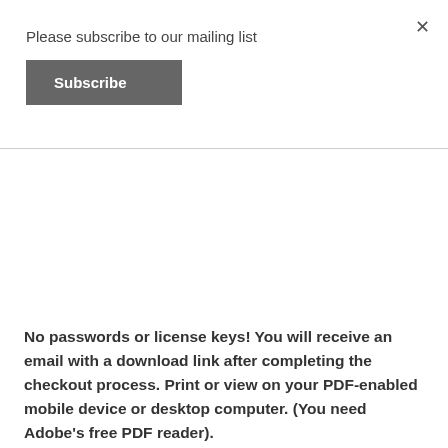Please subscribe to our mailing list
[Figure (other): Subscribe button — dark gray rectangle with white bold text 'Subscribe']
No passwords or license keys! You will receive an email with a download link after completing the checkout process. Print or view on your PDF-enabled mobile device or desktop computer. (You need Adobe's free PDF reader).